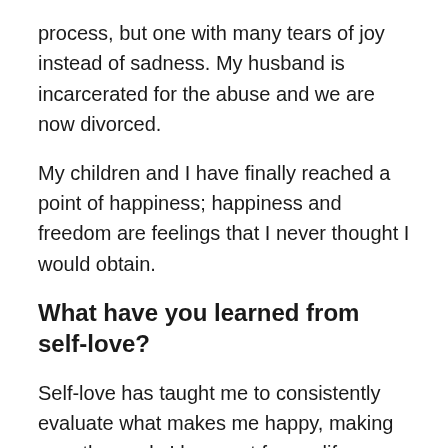process, but one with many tears of joy instead of sadness. My husband is incarcerated for the abuse and we are now divorced.
My children and I have finally reached a point of happiness; happiness and freedom are feelings that I never thought I would obtain.
What have you learned from self-love?
Self-love has taught me to consistently evaluate what makes me happy, making sure the goals I have set for my life are truly my goals and not what is expected of me by others. Self-love is having a free body and mind to do whatever I want. No longer will I allow others to control my feelings and desires. Self-love is when I see the smiles on my children's faces, confirming that I am finally loving…